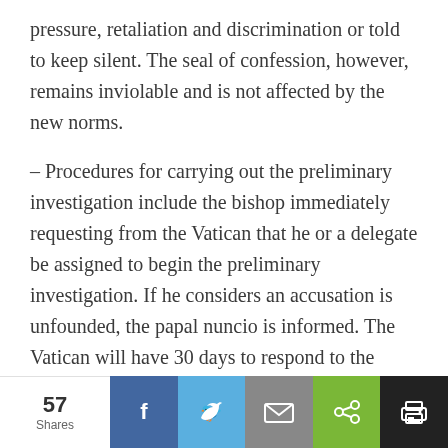pressure, retaliation and discrimination or told to keep silent. The seal of confession, however, remains inviolable and is not affected by the new norms.
– Procedures for carrying out the preliminary investigation include the bishop immediately requesting from the Vatican that he or a delegate be assigned to begin the preliminary investigation. If he considers an accusation is unfounded, the papal nuncio is informed. The Vatican will have 30 days to respond to the request and the bishop sends a status report to the Vatican every 30 days.
– When the investigation is complete, the bishop